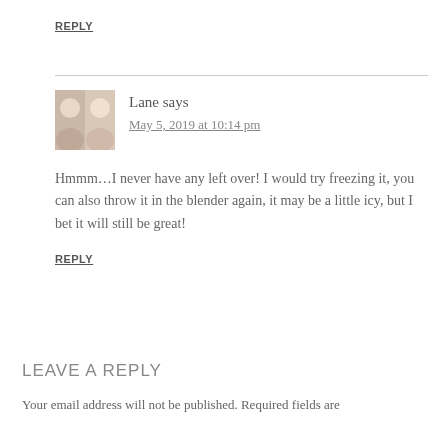REPLY
Lane says
May 5, 2019 at 10:14 pm
Hmmm…I never have any left over! I would try freezing it, you can also throw it in the blender again, it may be a little icy, but I bet it will still be great!
REPLY
LEAVE A REPLY
Your email address will not be published. Required fields are